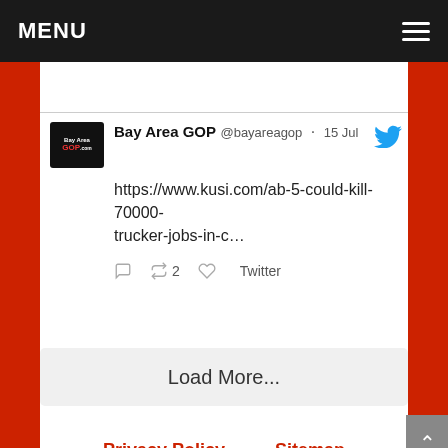MENU
Bay Area GOP @bayareagop · 15 Jul
https://www.kusi.com/ab-5-could-kill-70000-trucker-jobs-in-c…
Load More...
Privacy Policy   Sitemap
© 2022 Luis Buhler All Rights Reserved BayAreaGOP.com™ BayAreaGOP™